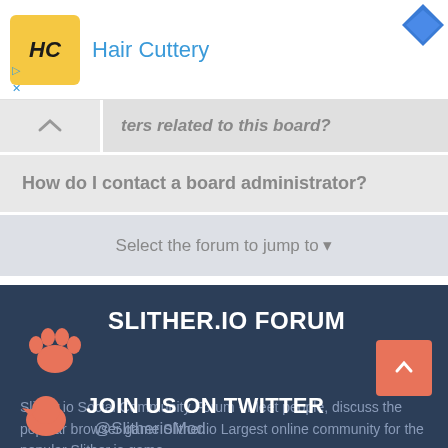[Figure (logo): Hair Cuttery advertisement banner with HC logo in yellow square and blue diamond icon in corner]
ters related to this board?
How do I contact a board administrator?
Select the forum to jump to
SLITHER.IO FORUM
Slither.io Social Community Forum - Meet people, discuss the popular browser game Slither.io Largest online community for the popular Slither.io game.
Read more
JOIN US ON TWITTER @SlitherioMod